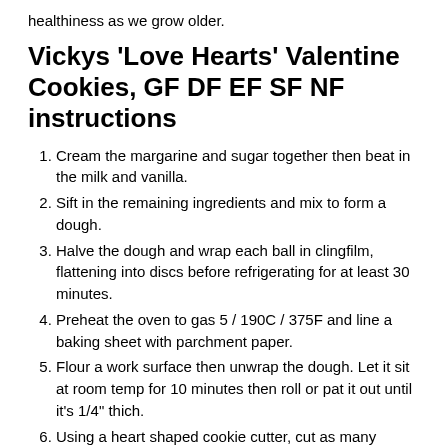healthiness as we grow older.
Vickys 'Love Hearts' Valentine Cookies, GF DF EF SF NF instructions
Cream the margarine and sugar together then beat in the milk and vanilla.
Sift in the remaining ingredients and mix to form a dough.
Halve the dough and wrap each ball in clingfilm, flattening into discs before refrigerating for at least 30 minutes.
Preheat the oven to gas 5 / 190C / 375F and line a baking sheet with parchment paper.
Flour a work surface then unwrap the dough. Let it sit at room temp for 10 minutes then roll or pat it out until it's 1/4" thich.
Using a heart shaped cookie cutter, cut as many shapes as you can fit. I used a 3" cutter here. Keep rerolling the dough until you've cut as many shapes as possible. Out of the 2 doughs you should get 30 – 32 hearts or you can keep 1 wrapped dough in the freezer for another day.
Put the cookies on the baking sheet and bake for 12 – 15 minutes or until golden.